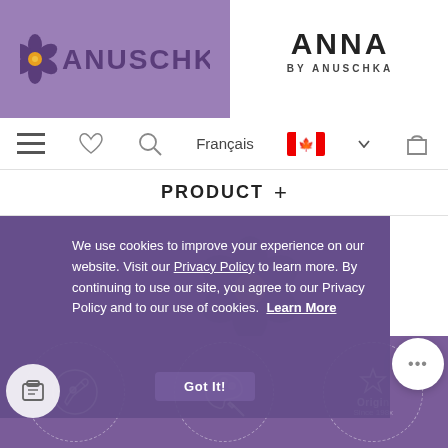[Figure (logo): Anuschka brand logo with purple flower icon and ANUSCHKA text on purple background]
[Figure (logo): ANNA BY ANUSCHKA text logo on white background]
[Figure (screenshot): Navigation bar with hamburger menu, heart, search, Français text, Canadian flag with dropdown, and bag icon]
PRODUCT +
We use cookies to improve your experience on our website. Visit our Privacy Policy to learn more. By continuing to use our site, you agree to our Privacy Policy and to our use of cookies. Learn More
[Figure (screenshot): Got It! button on cookie overlay with background Anuschka watermark logo]
[Figure (illustration): Hand-painted leather bag icon circle]
[Figure (illustration): Hand-painted palette art icon circle]
[Figure (illustration): Original star icon Since 198x circle]
EMPOWERING
HAND
AUTHENTIC